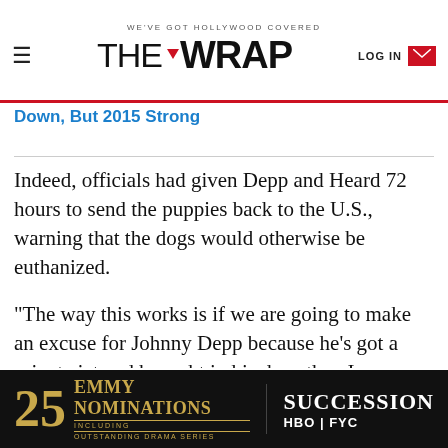WE'VE GOT HOLLYWOOD COVERED — THE WRAP — LOG IN
Down, But 2015 Strong
Indeed, officials had given Depp and Heard 72 hours to send the puppies back to the U.S., warning that the dogs would otherwise be euthanized.
“The way this works is if we are going to make an excuse for Johnny Depp because he’s got a private jet and brought in his dogs then I suppose you have to start making exemptions and excuses for everybody,”Australian agriculture minister Barnaby Joyce had said in an interview with ABC Brisbane. “It’s
[Figure (other): HBO Succession 25 Emmy Nominations advertisement banner]